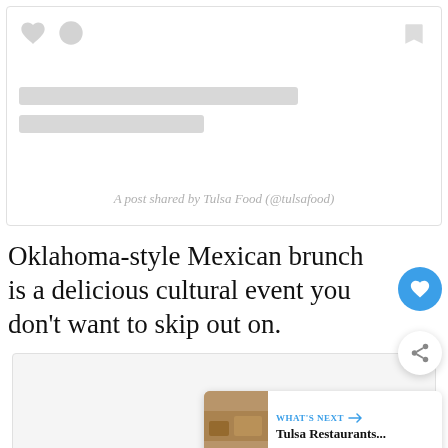[Figure (screenshot): Instagram embed placeholder showing heart icon, comment icon, bookmark icon, two gray placeholder bars, and caption text 'A post shared by Tulsa Food (@tulsafood)']
A post shared by Tulsa Food (@tulsafood)
Oklahoma-style Mexican brunch is a delicious cultural event you don't want to skip out on.
[Figure (photo): Partially visible image block at the bottom of the page with light gray background]